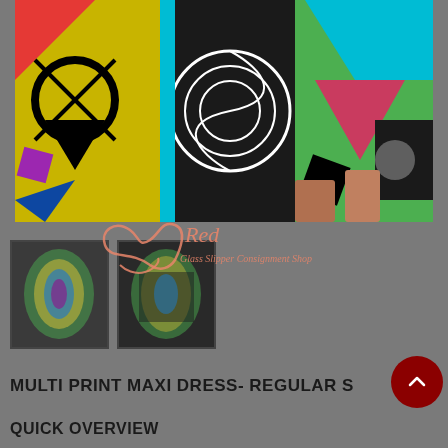[Figure (photo): Main product photo of a multi-print colorful maxi dress, showing lower half of the dress with geometric and abstract patterns in green, yellow, purple, black and white]
[Figure (logo): Red Glass Slipper Consignment Shop watermark logo in pink/salmon color with cursive text]
[Figure (photo): Thumbnail image 1: colorful tie-dye style multi-print maxi dress in green, yellow, blue and purple]
[Figure (photo): Thumbnail image 2: colorful multi-print maxi dress with green, yellow, black pattern]
[Figure (other): Loading spinner circle in pink/salmon color]
MULTI PRINT MAXI DRESS- REGULAR S
QUICK OVERVIEW